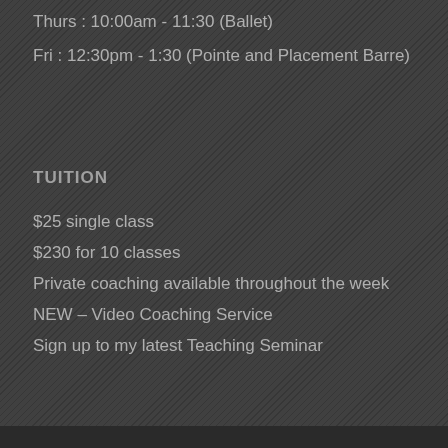Thurs : 10:00am - 11:30 (Ballet)
Fri : 12:30pm - 1:30 (Pointe and Placement Barre)
TUITION
$25 single class
$230 for 10 classes
Private coaching available throughout the week
NEW – Video Coaching Service
Sign up to my latest Teaching Seminar